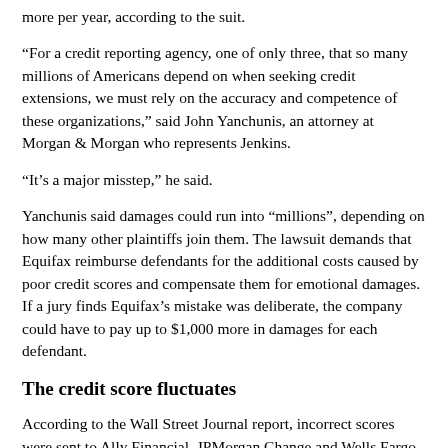more per year, according to the suit.
“For a credit reporting agency, one of only three, that so many millions of Americans depend on when seeking credit extensions, we must rely on the accuracy and competence of these organizations,” said John Yanchunis, an attorney at Morgan & Morgan who represents Jenkins.
“It’s a major misstep,” he said.
Yanchunis said damages could run into “millions”, depending on how many other plaintiffs join them. The lawsuit demands that Equifax reimburse defendants for the additional costs caused by poor credit scores and compensate them for emotional damages. If a jury finds Equifax’s mistake was deliberate, the company could have to pay up to $1,000 more in damages for each defendant.
The credit score fluctuates
According to the Wall Street Journal report, incorrect scores were sent to Ally Financial, JPMorgan Change and Wells Fargo, among other lenders. The report says a small number of those affected by the Equifax breach went from no credit score to a score in the 700s, or vice versa.